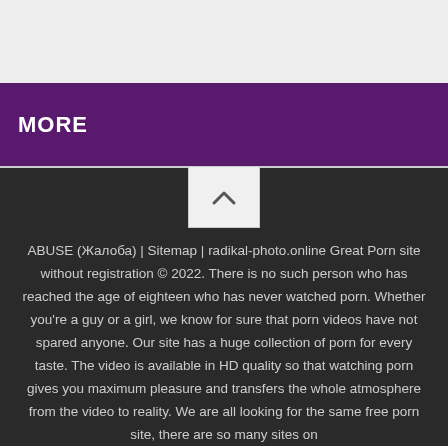MORE
ABUSE (Жалоба) | Sitemap | radikal-photo.online Great Porn site without registration © 2022. There is no such person who has reached the age of eighteen who has never watched porn. Whether you're a guy or a girl, we know for sure that porn videos have not spared anyone. Our site has a huge collection of porn for every taste. The video is available in HD quality so that watching porn gives you maximum pleasure and transfers the whole atmosphere from the video to reality. We are all looking for the same free porn site, there are so many sites on